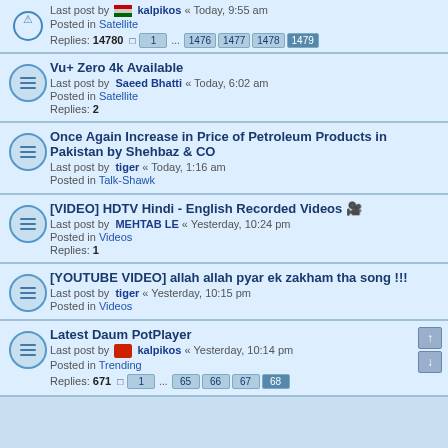Last post by kalpikos « Today, 9:55 am | Posted in Satellite | Replies: 14780 | Pages: 1 ... 1476 1477 1478 1479
Vu+ Zero 4k Available | Last post by Saeed Bhatti « Today, 6:02 am | Posted in Satellite | Replies: 2
Once Again Increase in Price of Petroleum Products in Pakistan by Shehbaz & CO | Last post by tiger « Today, 1:16 am | Posted in Talk-Shawk
[VIDEO] HDTV Hindi - English Recorded Videos 🎬 | Last post by MEHTAB LE « Yesterday, 10:24 pm | Posted in Videos | Replies: 1
[YOUTUBE VIDEO] allah allah pyar ek zakham tha song !!! | Last post by tiger « Yesterday, 10:15 pm | Posted in Videos
Latest Daum PotPlayer | Last post by kalpikos « Yesterday, 10:14 pm | Posted in Trending | Replies: 671 | Pages: 1 ... 65 66 67 68